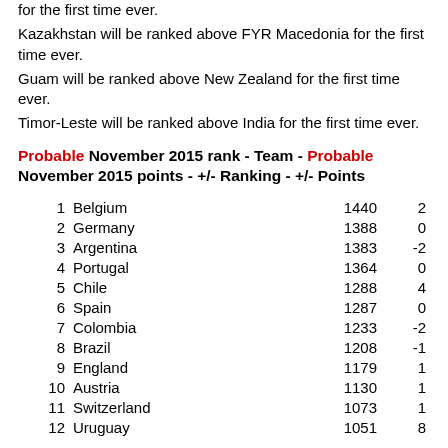for the first time ever.
Kazakhstan will be ranked above FYR Macedonia for the first time ever.
Guam will be ranked above New Zealand for the first time ever.
Timor-Leste will be ranked above India for the first time ever.
Probable November 2015 rank - Team - Probable November 2015 points - +/- Ranking - +/- Points
| Rank | Team | Points | +/- |
| --- | --- | --- | --- |
| 1 | Belgium | 1440 | 2 |
| 2 | Germany | 1388 | 0 |
| 3 | Argentina | 1383 | -2 |
| 4 | Portugal | 1364 | 0 |
| 5 | Chile | 1288 | 4 |
| 6 | Spain | 1287 | 0 |
| 7 | Colombia | 1233 | -2 |
| 8 | Brazil | 1208 | -1 |
| 9 | England | 1179 | 1 |
| 10 | Austria | 1130 | 1 |
| 11 | Switzerland | 1073 | 1 |
| 12 | Uruguay | 1051 | 8 |